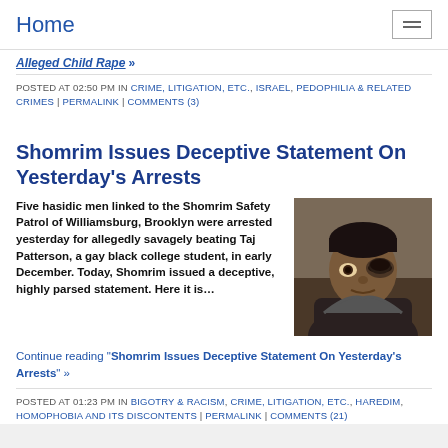Home
Alleged Child Rape »
POSTED AT 02:50 PM IN CRIME, LITIGATION, ETC., ISRAEL, PEDOPHILIA & RELATED CRIMES | PERMALINK | COMMENTS (3)
Shomrim Issues Deceptive Statement On Yesterday's Arrests
Five hasidic men linked to the Shomrim Safety Patrol of Williamsburg, Brooklyn were arrested yesterday for allegedly savagely beating Taj Patterson, a gay black college student, in early December. Today, Shomrim issued a deceptive, highly parsed statement. Here it is…
[Figure (photo): Photo of a man with a black eye injury]
Continue reading "Shomrim Issues Deceptive Statement On Yesterday's Arrests" »
POSTED AT 01:23 PM IN BIGOTRY & RACISM, CRIME, LITIGATION, ETC., HAREDIM, HOMOPHOBIA AND ITS DISCONTENTS | PERMALINK | COMMENTS (21)